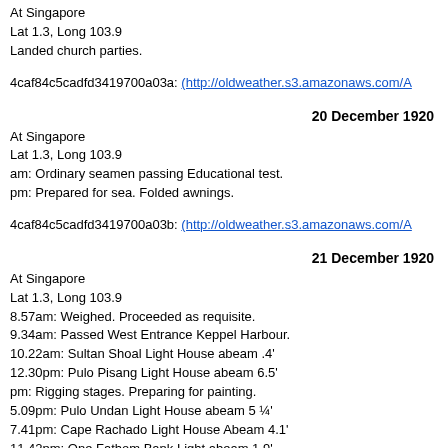At Singapore
Lat 1.3, Long 103.9
Landed church parties.
4caf84c5cadfd3419700a03a: (http://oldweather.s3.amazonaws.com/A
20 December 1920
At Singapore
Lat 1.3, Long 103.9
am: Ordinary seamen passing Educational test.
pm: Prepared for sea. Folded awnings.
4caf84c5cadfd3419700a03b: (http://oldweather.s3.amazonaws.com/A
21 December 1920
At Singapore
Lat 1.3, Long 103.9
8.57am: Weighed. Proceeded as requisite.
9.34am: Passed West Entrance Keppel Harbour.
10.22am: Sultan Shoal Light House abeam .4'
12.30pm: Pulo Pisang Light House abeam 6.5'
pm: Rigging stages. Preparing for painting.
5.09pm: Pulo Undan Light House abeam 5 ¼'
7.41pm: Cape Rachado Light House Abeam 4.1'
11.42pm: One Fathom Bank Light abeam 1.9'
4caf84c5cadfd3419700a03c: (http://oldweather.s3.amazonaws.com/A
22 December 1920
From Singapore to Penang and at Penang
Lat 5.4, Long 100.3